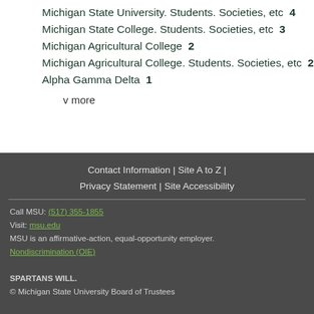Michigan State University. Students. Societies, etc  4
Michigan State College. Students. Societies, etc  3
Michigan Agricultural College  2
Michigan Agricultural College. Students. Societies, etc  2
Alpha Gamma Delta  1
v more
Contact Information | Site A to Z | Privacy Statement | Site Accessibility
Call MSU: (517) 355-1855
Visit: msu.edu
MSU is an affirmative-action, equal-opportunity employer.
Nondiscrimination (OIE)
SPARTANS WILL.
© Michigan State University Board of Trustees
[Figure (logo): Michigan State University logo with large white text 'MICHIGAN STATE' and 'UNIVERSITY' below on dark grey background]